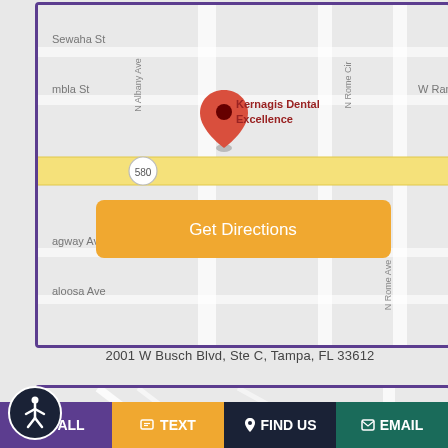[Figure (map): Google map showing location of Kernagis Dental Excellence with a red pin marker, showing surrounding streets including Sewaha St, W Rambla St, N Albany Ave, N Rome Cir. A yellow road (580) runs horizontally across the map. A gold 'Get Directions' button overlays the lower portion of the map.]
2001 W Busch Blvd, Ste C, Tampa, FL 33612
[Figure (map): Partial Google map view showing road intersections, with a light blue marker visible.]
CALL
TEXT
FIND US
EMAIL